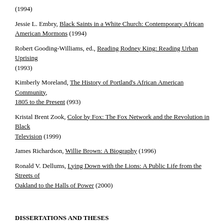(1994)
Jessie L. Embry, Black Saints in a White Church: Contemporary African American Mormons (1994)
Robert Gooding-Williams, ed., Reading Rodney King: Reading Urban Uprising (1993)
Kimberly Moreland, The History of Portland's African American Community, 1805 to the Present (993)
Kristal Brent Zook, Color by Fox: The Fox Network and the Revolution in Black Television (1999)
James Richardson, Willie Brown: A Biography (1996)
Ronald V. Dellums, Lying Down with the Lions: A Public Life from the Streets of Oakland to the Halls of Power (2000)
DISSERTATIONS AND THESES